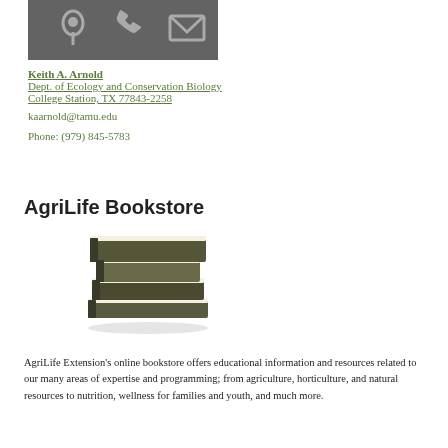[Figure (illustration): Dark gray banner with white icons: map pin, phone, and envelope on a gray background]
Keith A. Arnold
Dept. of Ecology and Conservation Biology
College Station, TX 77843-2258
kaarnold@tamu.edu
Phone: (979) 845-5783
AgriLife Bookstore
[Figure (illustration): Stack of dark olive/khaki colored books with white pages visible between them]
AgriLife Extension's online bookstore offers educational information and resources related to our many areas of expertise and programming; from agriculture, horticulture, and natural resources to nutrition, wellness for families and youth, and much more.